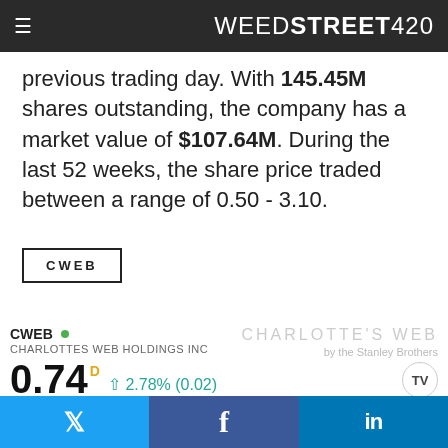WEEDSTREET420
previous trading day. With 145.45M shares outstanding, the company has a market value of $107.64M. During the last 52 weeks, the share price traded between a range of 0.50 - 3.10.
CWEB
[Figure (screenshot): TradingView chart widget showing CWEB (Charlottes Web Holdings Inc) stock at 0.74, up 2.78% (0.02), with a mountain/area chart showing historical price data. Charlotte's Web branding visible.]
Twitter | Facebook | LinkedIn social share buttons